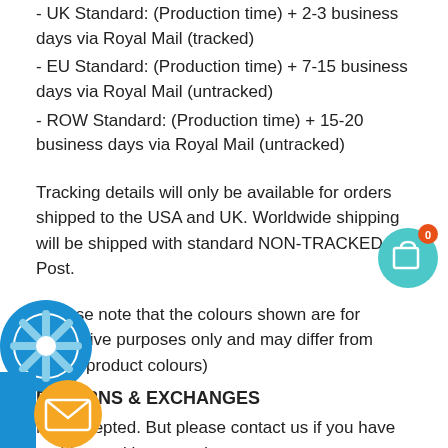- UK Standard: (Production time) + 2-3 business days via Royal Mail (tracked)
- EU Standard: (Production time) + 7-15 business days via Royal Mail (untracked)
- ROW Standard: (Production time) + 15-20 business days via Royal Mail (untracked)
Tracking details will only be available for orders shipped to the USA and UK. Worldwide shipping will be shipped with standard NON-TRACKED Post.
(Please note that the colours shown are for illustrative purposes only and may differ from actual product colours)
RETURNS & EXCHANGES
Not accepted. But please contact us if you have problems with your order
On the fence about this NEW Women's Classic Canvas Superman